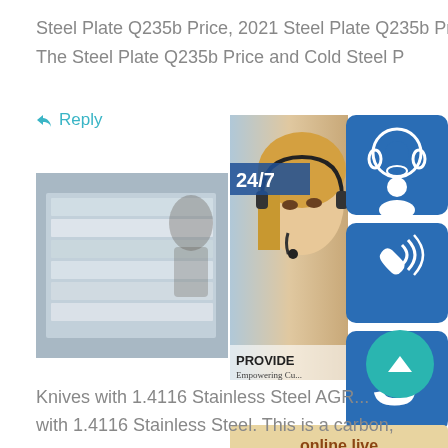Steel Plate Q235b Price, 2021 Steel Plate Q235b Price
The Steel Plate Q235b Price and Cold Steel P
↩ Reply
[Figure (photo): Product photo of steel plates wrapped in plastic packaging stacked together]
[Figure (photo): Customer support widget overlay showing a woman with headset, 24/7 label, customer service icon buttons (headset, phone, Skype), and online live button]
Knives with 1.4116 Stainless Steel AGR...
with 1.4116 Stainless Steel. This is a carbon,
↩ Reply
Reply comment